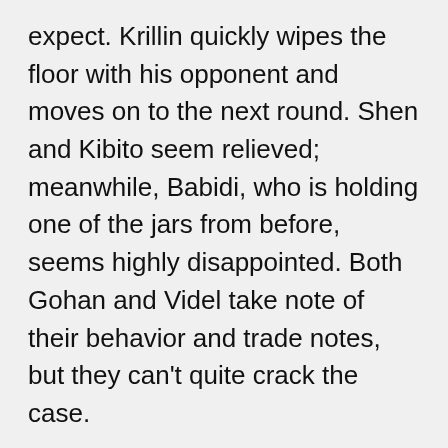expect. Krillin quickly wipes the floor with his opponent and moves on to the next round. Shen and Kibito seem relieved; meanwhile, Babidi, who is holding one of the jars from before, seems highly disappointed. Both Gohan and Videl take note of their behavior and trade notes, but they can't quite crack the case.
The Piccolo VS Shen fight goes the same as it does in the show. Piccolo steps up to plate, but he quickly steps down when he figures out who Shen is. Again, Babidi disappears to watch the show, but